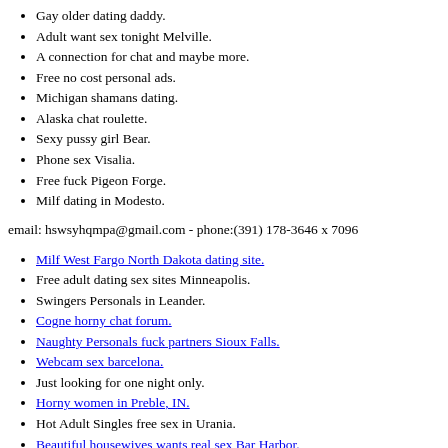Gay older dating daddy.
Adult want sex tonight Melville.
A connection for chat and maybe more.
Free no cost personal ads.
Michigan shamans dating.
Alaska chat roulette.
Sexy pussy girl Bear.
Phone sex Visalia.
Free fuck Pigeon Forge.
Milf dating in Modesto.
email: hswsyhqmpa@gmail.com - phone:(391) 178-3646 x 7096
Milf West Fargo North Dakota dating site.
Free adult dating sex sites Minneapolis.
Swingers Personals in Leander.
Cogne horny chat forum.
Naughty Personals fuck partners Sioux Falls.
Webcam sex barcelona.
Just looking for one night only.
Horny women in Preble, IN.
Hot Adult Singles free sex in Urania.
Beautiful housewives wants real sex Bar Harbor.
Grand Island love day date.
Housewives looking sex tonight Tacoma Washington.